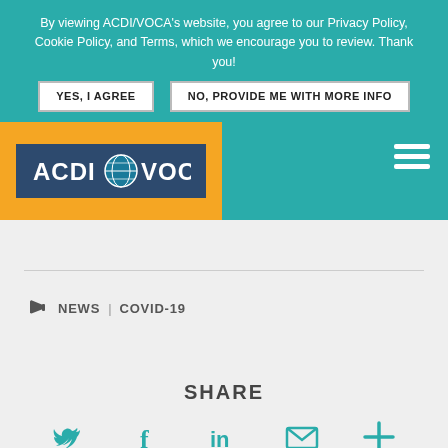By viewing ACDI/VOCA's website, you agree to our Privacy Policy, Cookie Policy, and Terms, which we encourage you to review. Thank you!
YES, I AGREE
NO, PROVIDE ME WITH MORE INFO
[Figure (logo): ACDI/VOCA logo with globe icon on dark blue background, set within an orange header bar]
NEWS | COVID-19
SHARE
[Figure (infographic): Social share icons: Twitter bird, Facebook f, LinkedIn in, Email envelope, Plus sign — all in teal color]